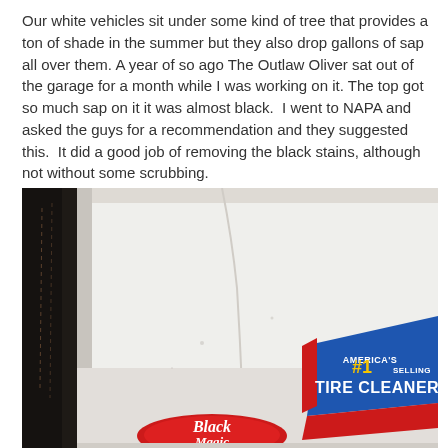Our white vehicles sit under some kind of tree that provides a ton of shade in the summer but they also drop gallons of sap all over them. A year of so ago The Outlaw Oliver sat out of the garage for a month while I was working on it. The top got so much sap on it it was almost black.  I went to NAPA and asked the guys for a recommendation and they suggested this.  It did a good job of removing the black stains, although not without some scrubbing.
[Figure (photo): Close-up photo of a white plastic bottle of Black Magic America's #1 Selling Tire Cleaner, showing the label with a blue and red design.]